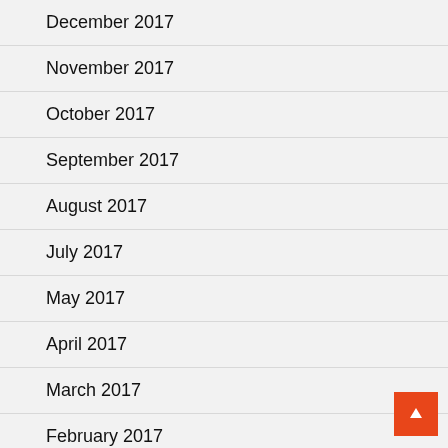December 2017
November 2017
October 2017
September 2017
August 2017
July 2017
May 2017
April 2017
March 2017
February 2017